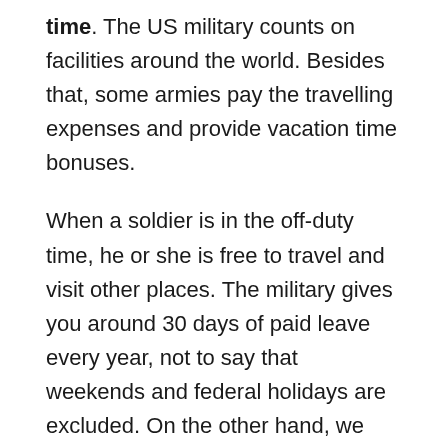time. The US military counts on facilities around the world. Besides that, some armies pay the travelling expenses and provide vacation time bonuses.
When a soldier is in the off-duty time, he or she is free to travel and visit other places. The military gives you around 30 days of paid leave every year, not to say that weekends and federal holidays are excluded. On the other hand, we have some military forces which count on several resorts in other countries.
For example, the Hale Koa resort in Hawaii belongs to the US army. There are other resorts for the soldiers in countries such as Germany, Japan and South Korea. The great part of the military installations also have accommodations, also known as military hotels, where